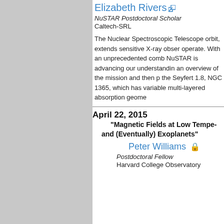Elizabeth Rivers
NuSTAR Postdoctoral Scholar
Caltech-SRL
The Nuclear Spectroscopic Telescope orbit, extends sensitive X-ray observations operate. With an unprecedented combination NuSTAR is advancing our understanding an overview of the mission and then present the Seyfert 1.8, NGC 1365, which has variable multi-layered absorption geometry.
April 22, 2015
"Magnetic Fields at Low Temperature and (Eventually) Exoplanets"
Peter Williams
Postdoctoral Fellow
Harvard College Observatory